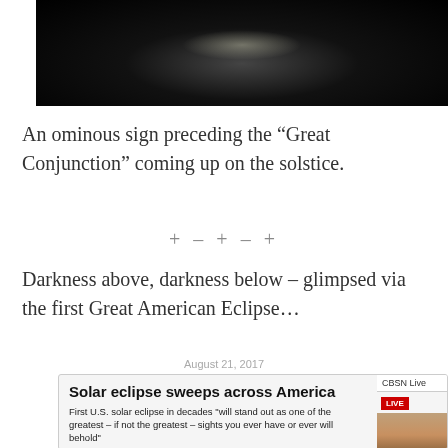[Figure (photo): Dark eclipse photo showing black sky with faint glow near top center]
An ominous sign preceding the “Great Conjunction” coming up on the solstice.
+ – + – +
Darkness above, darkness below – glimpsed via the first Great American Eclipse…
August 21, 2017
[Figure (screenshot): News screenshot: Solar eclipse sweeps across America. First U.S. solar eclipse in decades 'will stand out as one of the greatest – if not the greatest – sights you ever have or ever will behold'. CBSN Live badge visible on right.]